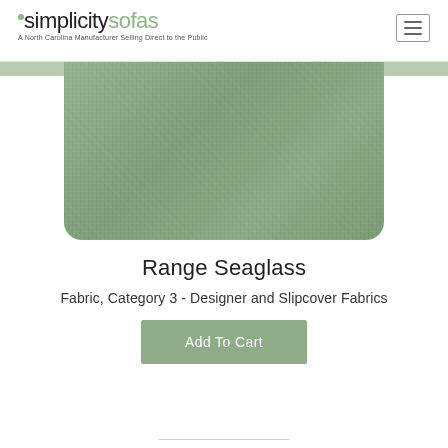simplicitysofas - A North Carolina Manufacturer Selling Direct to the Public
[Figure (photo): Close-up photograph of a sage green / seaglass colored woven fabric swatch with visible linen-like texture, displayed in a rounded-bottom card]
Range Seaglass
Fabric, Category 3 - Designer and Slipcover Fabrics
Add To Cart